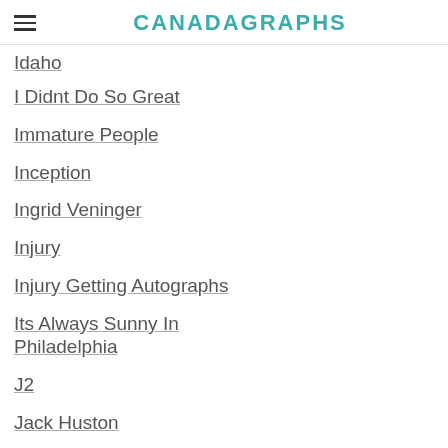CANADAGRAPHS
Idaho
I Didnt Do So Great
Immature People
Inception
Ingrid Veninger
Injury
Injury Getting Autographs
Its Always Sunny In Philadelphia
J2
Jack Huston
Jackie Earle Haley
Jacko
Jackson Rathbone
Jackson Rathbone Movie